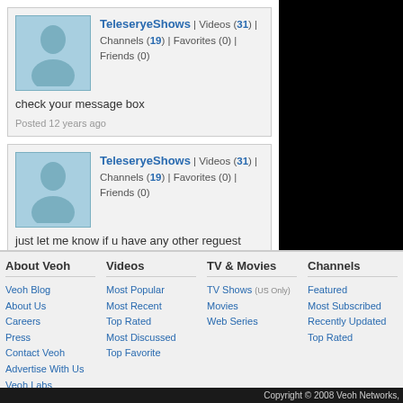[Figure (screenshot): First comment: Avatar placeholder with user TeleseryeShows, Videos (31), Channels (19), Favorites (0), Friends (0). Message: check your message box. Posted 12 years ago.]
[Figure (screenshot): Second comment: Avatar placeholder with user TeleseryeShows, Videos (31), Channels (19), Favorites (0), Friends (0). Message: just let me know if u have any other reguest. Posted 12 years ago.]
About Veoh
Videos
TV & Movies
Channels
Veoh Blog
About Us
Careers
Press
Contact Veoh
Advertise With Us
Veoh Labs
Partner with Veoh
???
affiliate.developer.title???
Most Popular
Most Recent
Top Rated
Most Discussed
Top Favorite
TV Shows (US Only)
Movies
Web Series
Featured
Most Subscribed
Recently Updated
Top Rated
Copyright © 2008 Veoh Networks,